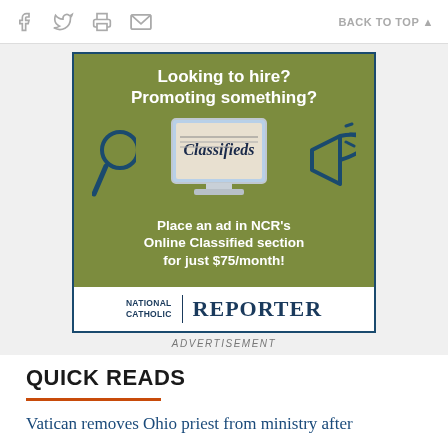Social icons (Facebook, Twitter, Print, Email) | BACK TO TOP
[Figure (infographic): National Catholic Reporter advertisement. Green background with text: 'Looking to hire? Promoting something?' with a monitor showing 'Classifieds' and a megaphone icon. Text: 'Place an ad in NCR's Online Classified section for just $75/month!' with NCR NATIONAL CATHOLIC REPORTER logo at bottom.]
ADVERTISEMENT
QUICK READS
Vatican removes Ohio priest from ministry after